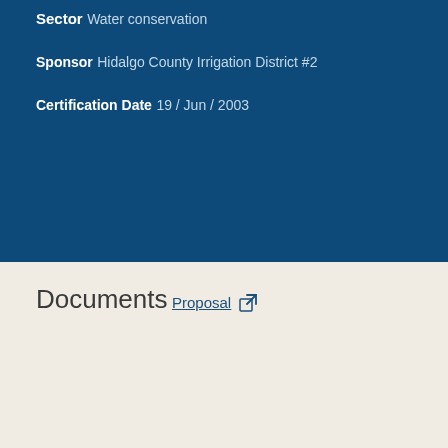Sector
Water conservation
Sponsor
Hidalgo County Irrigation District #2
Certification Date
19 / Jun / 2003
Documents
Proposal